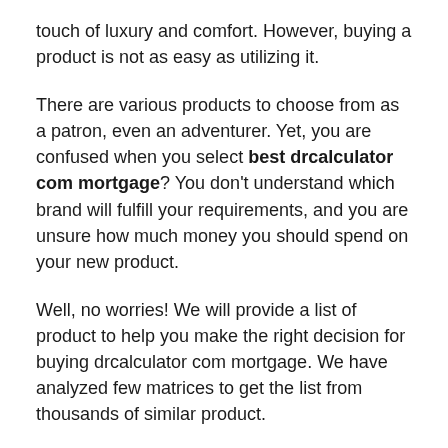touch of luxury and comfort. However, buying a product is not as easy as utilizing it.
There are various products to choose from as a patron, even an adventurer. Yet, you are confused when you select best drcalculator com mortgage? You don't understand which brand will fulfill your requirements, and you are unsure how much money you should spend on your new product.
Well, no worries! We will provide a list of product to help you make the right decision for buying drcalculator com mortgage. We have analyzed few matrices to get the list from thousands of similar product.